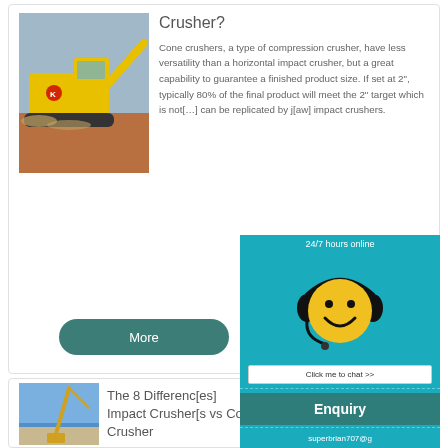[Figure (photo): Yellow construction crusher/screener machine working on a job site with gravel and orange dirt visible]
Crusher?
Cone crushers, a type of compression crusher, have less versatility than a horizontal impact crusher, but a great capability to guarantee a finished product size. If set at 2”, typically 80% of the final product will meet the 2” target which is not [something] can be replicated by j[aw] impact crushers.
More
[Figure (photo): Construction crane or excavator against a blue sky]
The 8 Differences Impact Crusher[s vs Cone] Crusher
[Figure (illustration): 24/7 hours online chat widget with smiley face wearing headset, Click me to chat >> button, Enquiry section, and email superbrian707@g...]
24/7 hours online
Click me to chat >>
Enquiry
superbrian707@g